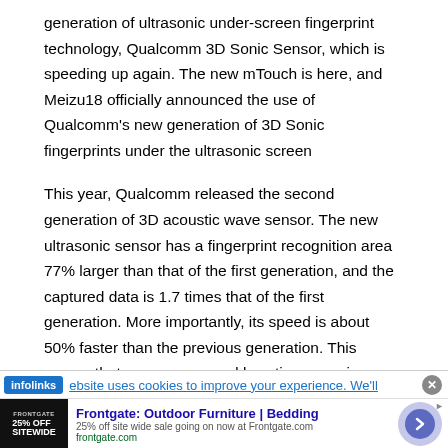generation of ultrasonic under-screen fingerprint technology, Qualcomm 3D Sonic Sensor, which is speeding up again. The new mTouch is here, and Meizu18 officially announced the use of Qualcomm's new generation of 3D Sonic fingerprints under the ultrasonic screen
This year, Qualcomm released the second generation of 3D acoustic wave sensor. The new ultrasonic sensor has a fingerprint recognition area 77% larger than that of the first generation, and the captured data is 1.7 times that of the first generation. More importantly, its speed is about 50% faster than the previous generation. This means that users can spend less time worrying about where to put their fingers and
[Figure (screenshot): Infolinks cookie consent bar with text: 'website uses cookies to improve your experience. We'll' and a close button]
[Figure (screenshot): Advertisement banner for Frontgate: Outdoor Furniture | Bedding. Shows '25% off site wide sale going on now at Frontgate.com' and frontgate.com URL, with a circular arrow button on the right.]